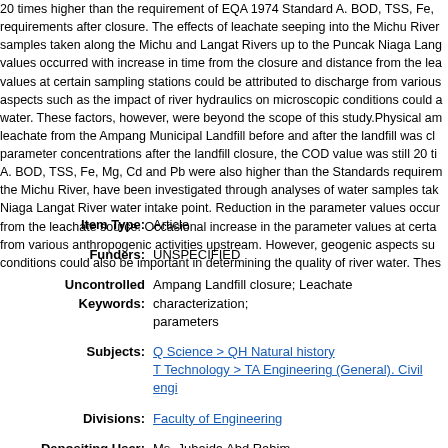20 times higher than the requirement of EQA 1974 Standard A. BOD, TSS, Fe, requirements after closure. The effects of leachate seeping into the Michu River samples taken along the Michu and Langat Rivers up to the Puncak Niaga Lang values occurred with increase in time from the closure and distance from the lea values at certain sampling stations could be attributed to discharge from various aspects such as the impact of river hydraulics on microscopic conditions could a water. These factors, however, were beyond the scope of this study.Physical am leachate from the Ampang Municipal Landfill before and after the landfill was cl parameter concentrations after the landfill closure, the COD value was still 20 ti A. BOD, TSS, Fe, Mg, Cd and Pb were also higher than the Standards requirem the Michu River, have been investigated through analyses of water samples tak Niaga Langat River water intake point. Reduction in the parameter values occur from the leachate source. Occasional increase in the parameter values at certa from various anthropogenic activities upstream. However, geogenic aspects su conditions could also be important in determining the quality of river water. Thes
Item Type: Article
Funders: UNSPECIFIED
Uncontrolled Keywords: Ampang Landfill closure; Leachate characterization; parameters
Subjects: Q Science > QH Natural history
T Technology > TA Engineering (General). Civil engi
Divisions: Faculty of Engineering
Depositing User: Ms. Juhaida Abd Rahim
Date Deposited: 26 Apr 2018 06:27
Last Modified: 28 Apr 2021 06:56